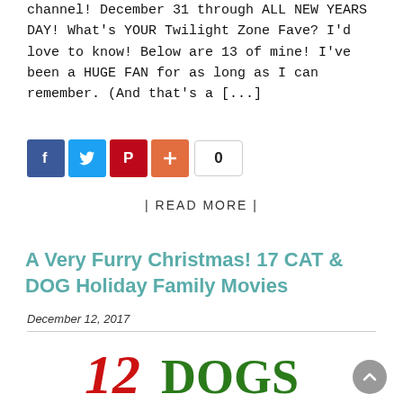channel!  December 31 through ALL NEW YEARS DAY! What's YOUR Twilight Zone Fave?  I'd love to know!  Below are 13 of mine!   I've been a HUGE FAN for as long as I can remember.  (And that's a [...]
[Figure (infographic): Social sharing buttons: Facebook (blue), Twitter (light blue), Pinterest (red), Plus (orange-red), and a share count showing 0]
| READ MORE |
A Very Furry Christmas! 17 CAT & DOG Holiday Family Movies
December 12, 2017
[Figure (logo): 12 Dogs of Christmas movie logo — red and green text]